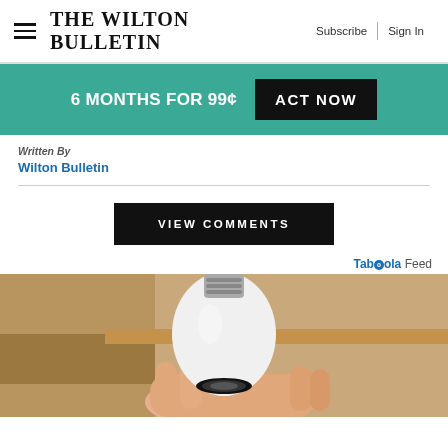The Wilton Bulletin | Subscribe | Sign In
[Figure (infographic): Promotional banner: 6 MONTHS FOR 99¢ ACT NOW button on teal background]
Written By
Wilton Bulletin
VIEW COMMENTS
Taboola Feed
[Figure (photo): A hand holding a white light bulb-shaped security camera device against a wooden shelf background]